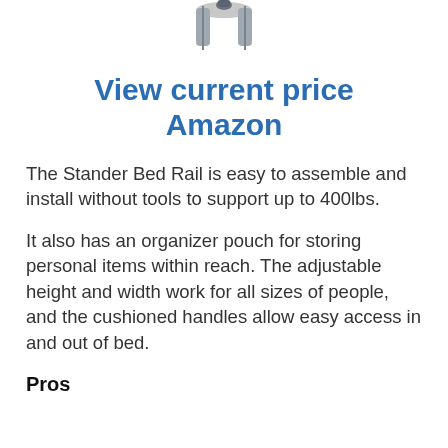[Figure (photo): Partial image of Stander Bed Rail product, showing top portion cropped at the top of the page]
View current price Amazon
The Stander Bed Rail is easy to assemble and install without tools to support up to 400lbs.
It also has an organizer pouch for storing personal items within reach. The adjustable height and width work for all sizes of people, and the cushioned handles allow easy access in and out of bed.
Pros